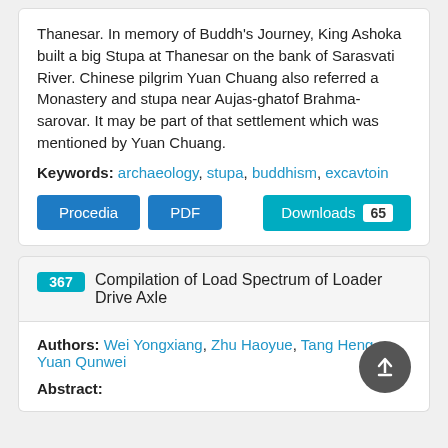Thanesar. In memory of Buddh's Journey, King Ashoka built a big Stupa at Thanesar on the bank of Sarasvati River. Chinese pilgrim Yuan Chuang also referred a Monastery and stupa near Aujas-ghatof Brahma-sarovar. It may be part of that settlement which was mentioned by Yuan Chuang.
Keywords: archaeology, stupa, buddhism, excavtoin
Procedia  PDF  Downloads 65
367 Compilation of Load Spectrum of Loader Drive Axle
Authors: Wei Yongxiang, Zhu Haoyue, Tang Heng, Yuan Qunwei
Abstract: